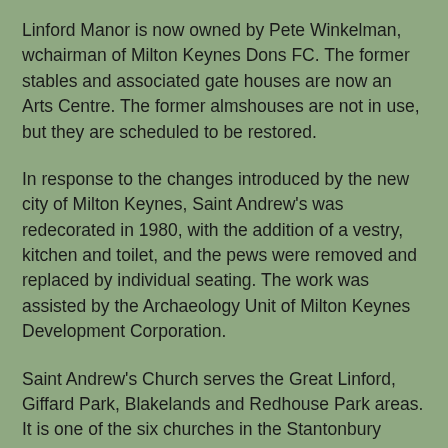Linford Manor is now owned by Pete Winkelman, wchairman of Milton Keynes Dons FC. The former stables and associated gate houses are now an Arts Centre. The former almshouses are not in use, but they are scheduled to be restored.
In response to the changes introduced by the new city of Milton Keynes, Saint Andrew's was redecorated in 1980, with the addition of a vestry, kitchen and toilet, and the pews were removed and replaced by individual seating. The work was assisted by the Archaeology Unit of Milton Keynes Development Corporation.
Saint Andrew's Church serves the Great Linford, Giffard Park, Blakelands and Redhouse Park areas. It is one of the six churches in the Stantonbury Ecumenical Partnership in north-east Milton Keynes, which serves the areas of and near Bradwell, New Bradwell, Stantonbury, Great Linford, Downs Barn and Willen.
Ministry at Saint Andrew's is shared between several lay and